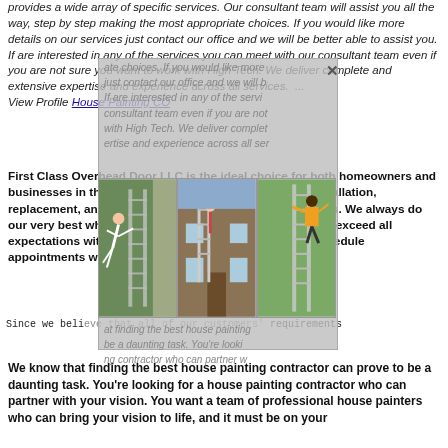provides a wide array of specific services. Our consultant team will assist you all the way, step by step making the most appropriate choices. If you would like more details on our services just contact our office and we will be better able to assist you. If are interested in any of the services you can meet with our consultant team even if you are not sure you want to work with High Tech. We deliver complete and extensive expertise and experience across all services.  ... View Profile House Painting CO
[Figure (screenshot): Popup overlay with close X button, italic text about finding best house painting contractor, photos of house painting workers on ladders]
First Class Overhead Door LLC is the ideal choice for both homeowners and businesses in the area who value quality garage door installation, replacement, and repair work at fair and competitive prices. We always do our very best when it comes to garage doors and strive to exceed all expectations with our services. Call us at (203) 20... to schedule appointments with us! Hous...
Since we believe that all of our customers' requirements
We know that finding the best house painting contractor can prove to be a daunting task. You're looking for a house painting contractor who can partner with your vision. You want a team of professional house painters who can bring your vision to life, and it must be on your